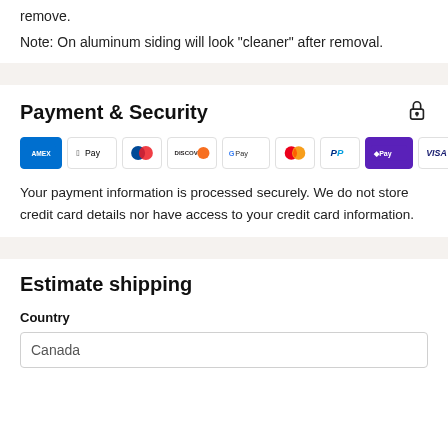remove.
Note: On aluminum siding will look "cleaner" after removal.
Payment & Security
[Figure (logo): Payment method logos: American Express, Apple Pay, Diners Club, Discover, Google Pay, Mastercard, PayPal, Shop Pay, Visa]
Your payment information is processed securely. We do not store credit card details nor have access to your credit card information.
Estimate shipping
Country
Canada